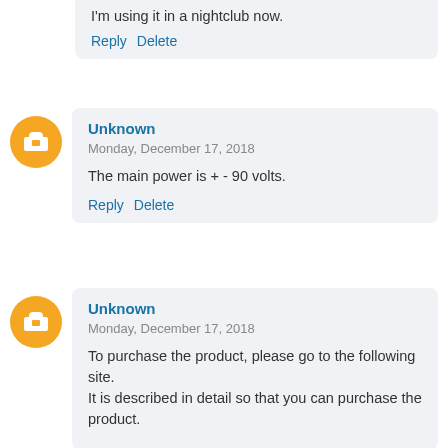I'm using it in a nightclub now.
Reply  Delete
Unknown
Monday, December 17, 2018
The main power is + - 90 volts.
Reply  Delete
Unknown
Monday, December 17, 2018
To purchase the product, please go to the following site.
It is described in detail so that you can purchase the product.